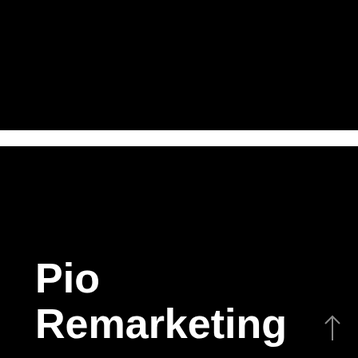[Figure (photo): Top black rectangle image occupying the upper portion of the page]
[Figure (photo): Large black rectangle image occupying the lower portion of the page with white bold text 'Pio Remarketing' in the bottom-left corner and an upward arrow icon in the bottom-right corner]
Pio Remarketing